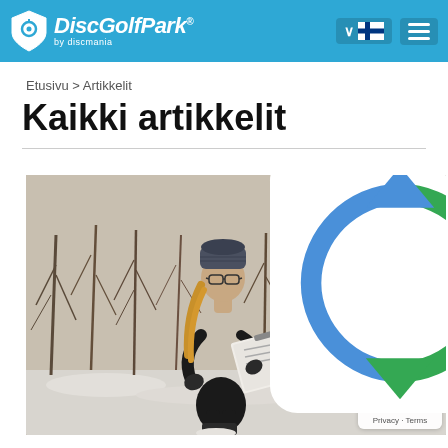DiscGolfPark by discmania
Etusivu > Artikkelit
Kaikki artikkelit
[Figure (photo): Woman in black winter jacket and knit hat, wearing glasses, standing outdoors in snowy conditions holding a clipboard/binder. Bare trees in background. A red disc golf basket/marker is partially visible on the right. Winter disc golf scene.]